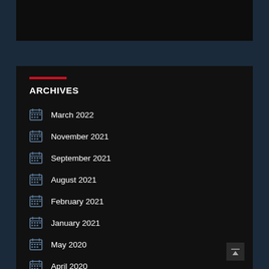[Figure (other): Black rectangle at top, partial image/banner area]
ARCHIVES
March 2022
November 2021
September 2021
August 2021
February 2021
January 2021
May 2020
April 2020
March 2020